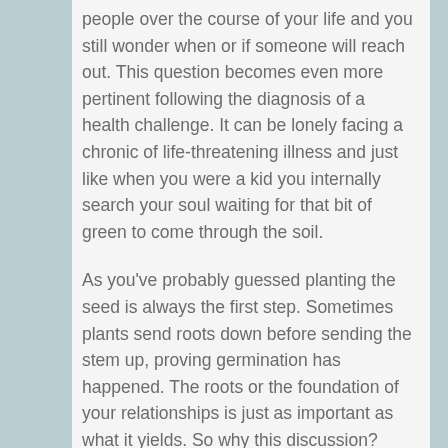people over the course of your life and you still wonder when or if someone will reach out.  This question becomes even more pertinent following the diagnosis of a health challenge.  It can be lonely facing  a chronic of life-threatening illness and just like when you were a kid you internally search your soul waiting for that bit of green to come through the soil.
As you've probably guessed planting the seed is always the first step.  Sometimes plants send roots down before sending the stem up, proving germination has happened.  The roots or the foundation of your relationships is just as important as what it yields.  So why this discussion?  Yesterday I received two phone calls from people in my artist guild.  I've been a member for over six years and this is the first time anyone has called.  Yes, I just completed my terms as President of the ...